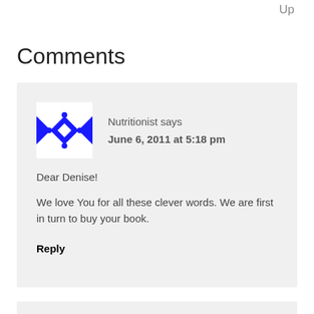Up
Comments
[Figure (illustration): Blue and white geometric avatar icon with diamond and cross pattern]
Nutritionist says
June 6, 2011 at 5:18 pm
Dear Denise!
We love You for all these clever words. We are first in turn to buy your book.
Reply